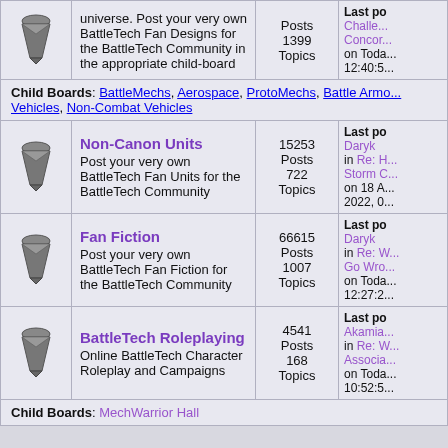| Icon | Forum | Stats | Last Post |
| --- | --- | --- | --- |
| [icon] | universe. Post your very own BattleTech Fan Designs for the BattleTech Community in the appropriate child-board
Child Boards: BattleMechs, Aerospace, ProtoMechs, Battle Armor, Vehicles, Non-Combat Vehicles | Posts 1399 Topics | Last po... Challe... Concor... on Toda... 12:40:5... |
| [icon] | Non-Canon Units
Post your very own BattleTech Fan Units for the BattleTech Community | 15253 Posts 722 Topics | Last po... Daryk in Re: H... Storm C... on 18 A... 2022, 0... |
| [icon] | Fan Fiction
Post your very own BattleTech Fan Fiction for the BattleTech Community | 66615 Posts 1007 Topics | Last po... Daryk in Re: W... Go Wro... on Toda... 12:27:2... |
| [icon] | BattleTech Roleplaying
Online BattleTech Character Roleplay and Campaigns
Child Boards: MechWarrior Hall | 4541 Posts 168 Topics | Last po... Akamia... in Re: W... Associa... on Toda... 10:52:5... |